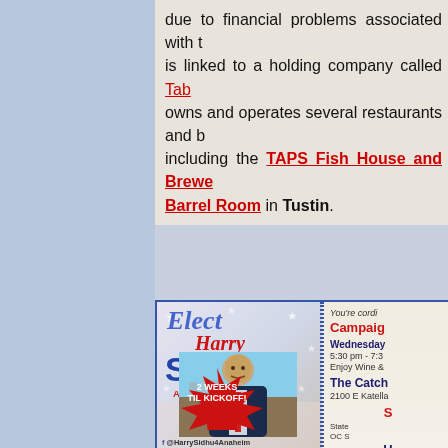due to financial problems associated with t... is linked to a holding company called Tab... owns and operates several restaurants and b... including the TAPS Fish House and Brewery Barrel Room in Tustin.
[Figure (infographic): Campaign flyer for Elect Harry Sidhu Anaheim Mayor with '2 WEEKS TIL KICKOFF!' starburst, photo of Harry Sidhu, and event details for Campaign Kickoff on Wednesday at The Catch, 2100 E Katella, with hosts including Richard Knowla, O'Connell, Penrose, BU Pa, Dr. Howard Kno, Geo.]